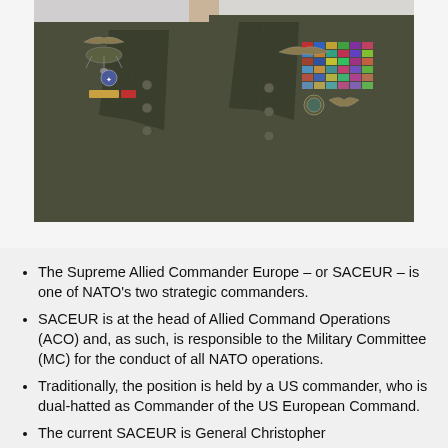[Figure (photo): Close-up photograph of a military officer's uniform showing medals, ribbons, badges, and insignia on an olive/dark green dress uniform]
The Supreme Allied Commander Europe – or SACEUR – is one of NATO's two strategic commanders.
SACEUR is at the head of Allied Command Operations (ACO) and, as such, is responsible to the Military Committee (MC) for the conduct of all NATO operations.
Traditionally, the position is held by a US commander, who is dual-hatted as Commander of the US European Command.
The current SACEUR is General Christopher